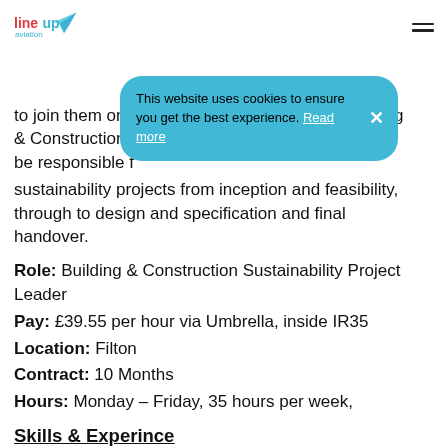line up aviation [logo] [hamburger menu]
to join them on a 10-month contract. As the Building & Construction S[ustainability Project Leader, you will] be responsible f[or managing all building and] sustainability projects from inception and feasibility, through to design and specification and final handover.
Role: Building & Construction Sustainability Project Leader
Pay: £39.55 per hour via Umbrella, inside IR35
Location: Filton
Contract: 10 Months
Hours: Monday – Friday, 35 hours per week,
Skills & Experince